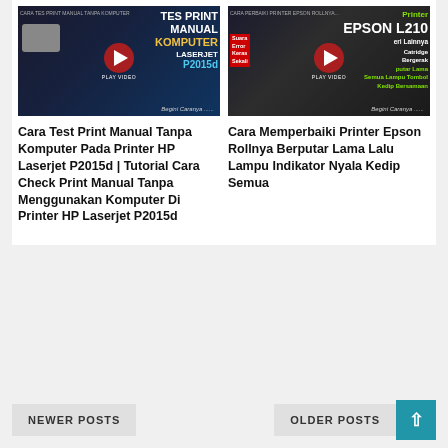[Figure (screenshot): YouTube video thumbnail for 'Cara Tes Print Manual Tanpa Komputer' featuring HP Laserjet P2015d printer with red play button]
[Figure (screenshot): YouTube video thumbnail for 'Cara Perbaiki Printer Epson Rollnya' featuring Epson L210 printer with red play button]
Cara Test Print Manual Tanpa Komputer Pada Printer HP Laserjet P2015d | Tutorial Cara Check Print Manual Tanpa Menggunakan Komputer Di Printer HP Laserjet P2015d
Cara Memperbaiki Printer Epson Rollnya Berputar Lama Lalu Lampu Indikator Nyala Kedip Semua
NEWER POSTS
OLDER POSTS